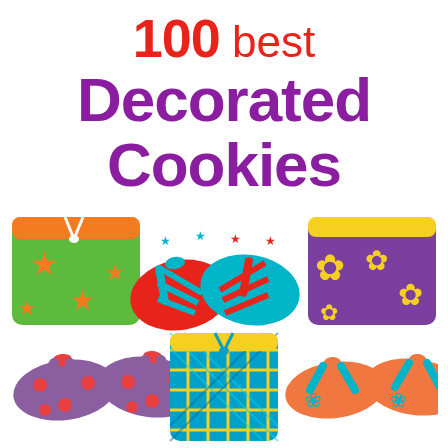100 best Decorated Cookies
[Figure (photo): Six decorated sugar cookies shaped like summer beach items arranged in two rows: top row shows green swim shorts with orange starfish, a pair of red and teal flip-flops, and purple shorts with yellow flowers; bottom row shows a pair of purple flip-flops with red dots, blue plaid swim trunks with yellow trim and bow, and a pair of orange flip-flops with teal straps and flower designs.]